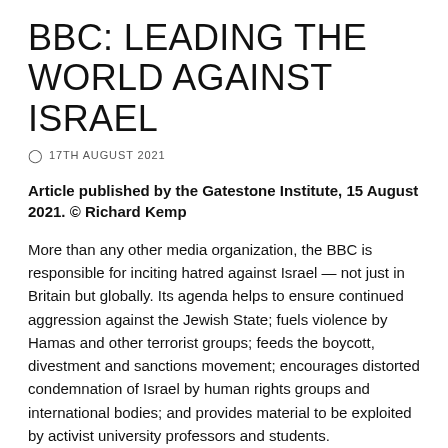BBC: LEADING THE WORLD AGAINST ISRAEL
17TH AUGUST 2021
Article published by the Gatestone Institute, 15 August 2021. © Richard Kemp
More than any other media organization, the BBC is responsible for inciting hatred against Israel — not just in Britain but globally. Its agenda helps to ensure continued aggression against the Jewish State; fuels violence by Hamas and other terrorist groups; feeds the boycott, divestment and sanctions movement; encourages distorted condemnation of Israel by human rights groups and international bodies; and provides material to be exploited by activist university professors and students.
All of this not only seriously harms the reputation of the State